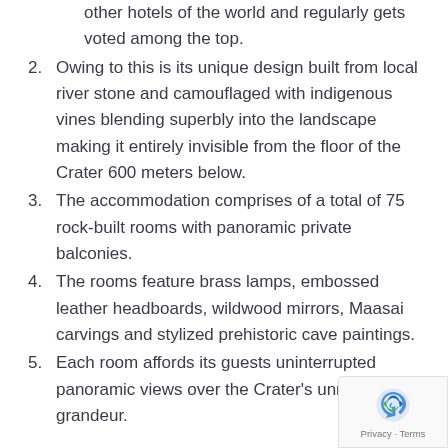other hotels of the world and regularly gets voted among the top.
2. Owing to this is its unique design built from local river stone and camouflaged with indigenous vines blending superbly into the landscape making it entirely invisible from the floor of the Crater 600 meters below.
3. The accommodation comprises of a total of 75 rock-built rooms with panoramic private balconies.
4. The rooms feature brass lamps, embossed leather headboards, wildwood mirrors, Maasai carvings and stylized prehistoric cave paintings.
5. Each room affords its guests uninterrupted panoramic views over the Crater's unmatched grandeur.
Facilities/Services: